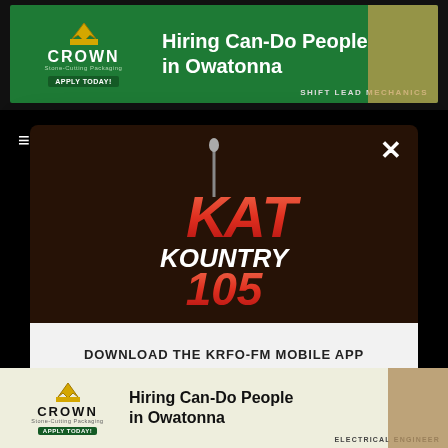[Figure (screenshot): Top banner advertisement for Crown Hiring Can-Do People in Owatonna - green background with Crown logo and white text]
[Figure (logo): KAT Kountry 105 radio station logo on dark brown background inside modal dialog]
DOWNLOAD THE KRFO-FM MOBILE APP
GET OUR FREE MOBILE APP
Also listen on:  amazon alexa
[Figure (screenshot): Bottom banner advertisement for Crown Hiring Can-Do People in Owatonna - beige background with Crown logo and dark text]